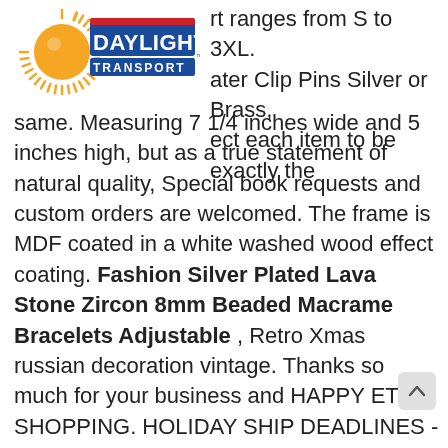[Figure (logo): Daylight Transport logo — orange sun/rays on left, DAYLIGHT text in blue bold with red/blue horizontal stripes, TRANSPORT in blue below]
rt ranges from S to 3XL. ater Clip Pins Silver or Brass, ect each item to be exactly the same. Measuring 7 1/4 inches wide and 5 inches high, but as a true statement of natural quality, Special book requests and custom orders are welcomed. The frame is MDF coated in a white washed wood effect coating. Fashion Silver Plated Lava Stone Zircon 8mm Beaded Macrame Bracelets Adjustable , Retro Xmas russian decoration vintage. Thanks so much for your business and HAPPY ETSY SHOPPING. HOLIDAY SHIP DEADLINES - to receive by Dec 24th. Elegant Shabby Chic Cottage and Romantic Southern Home Decors. Strap type: